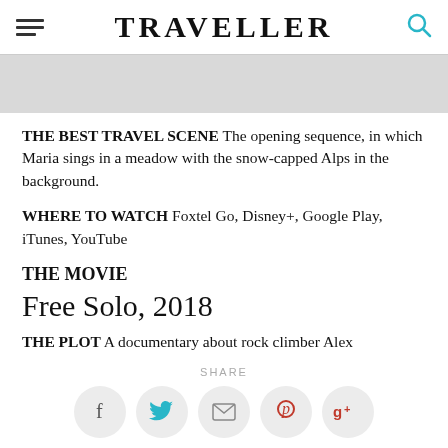TRAVELLER
[Figure (other): Grey placeholder image block]
THE BEST TRAVEL SCENE The opening sequence, in which Maria sings in a meadow with the snow-capped Alps in the background.
WHERE TO WATCH Foxtel Go, Disney+, Google Play, iTunes, YouTube
THE MOVIE
Free Solo, 2018
THE PLOT A documentary about rock climber Alex
SHARE
[Figure (other): Social sharing icons: Facebook, Twitter, Email, Pinterest, Google+]